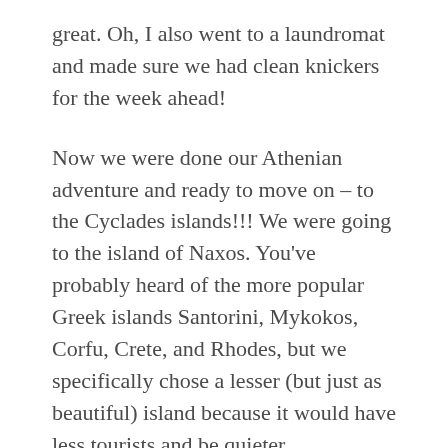great. Oh, I also went to a laundromat and made sure we had clean knickers for the week ahead!
Now we were done our Athenian adventure and ready to move on – to the Cyclades islands!!! We were going to the island of Naxos. You've probably heard of the more popular Greek islands Santorini, Mykokos, Corfu, Crete, and Rhodes, but we specifically chose a lesser (but just as beautiful) island because it would have less tourists and be quieter. We took a Blue Star ferry there. It's a 5-